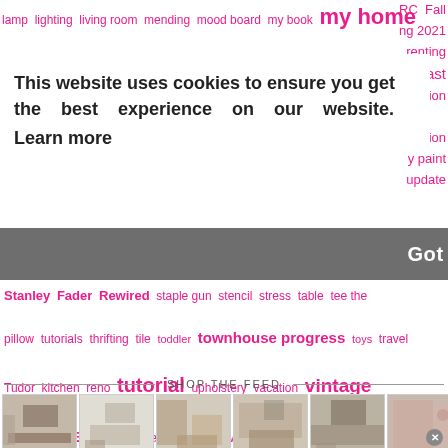lamp lighting living room mending mood board my book my home RC Fall ng 2021 renting podcast ognition oiration y paint update
This website uses cookies to ensure you get the best experience on our website. Learn more
Got it!
Stanley Fader Rewired staple gun stencil stress table tee the pillow tutorials thrifting tile toddler townhouse progress toys travel Tudor kitchen reno tutorial upholstery vacation vintage wallpaper wedding wedding dress weekend
SHOP THE FEED
[Figure (photo): Six thumbnail home interior photos in a horizontal strip]
^